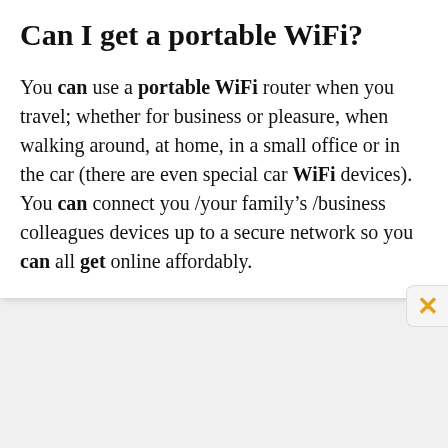Can I get a portable WiFi?
You can use a portable WiFi router when you travel; whether for business or pleasure, when walking around, at home, in a small office or in the car (there are even special car WiFi devices). You can connect you /your family’s /business colleagues devices up to a secure network so you can all get online affordably.